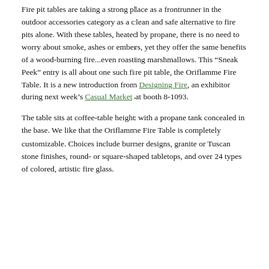Fire pit tables are taking a strong place as a frontrunner in the outdoor accessories category as a clean and safe alternative to fire pits alone. With these tables, heated by propane, there is no need to worry about smoke, ashes or embers, yet they offer the same benefits of a wood-burning fire...even roasting marshmallows. This “Sneak Peek” entry is all about one such fire pit table, the Oriflamme Fire Table. It is a new introduction from Designing Fire, an exhibitor during next week’s Casual Market at booth 8-1093.
The table sits at coffee-table height with a propane tank concealed in the base. We like that the Oriflamme Fire Table is completely customizable. Choices include burner designs, granite or Tuscan stone finishes, round- or square-shaped tabletops, and over 24 types of colored, artistic fire glass.